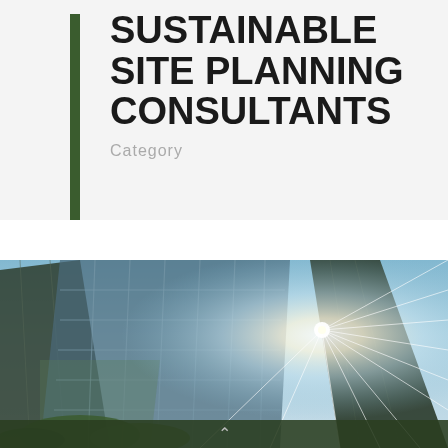SUSTAINABLE SITE PLANNING CONSULTANTS
Category
[Figure (photo): Low-angle upward view of a modern glass curtain-wall building with sun flare, blue sky, and green trees visible at the base.]